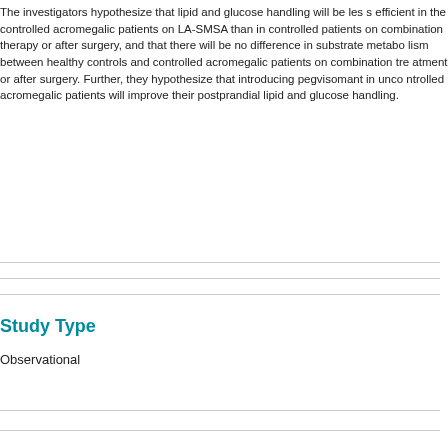The investigators hypothesize that lipid and glucose handling will be less efficient in the controlled acromegalic patients on LA-SMSA than in controlled patients on combination therapy or after surgery, and that there will be no difference in substrate metabolism between healthy controls and controlled acromegalic patients on combination treatment or after surgery. Further, they hypothesize that introducing pegvisomant in uncontrolled acromegalic patients will improve their postprandial lipid and glucose handling.
Study Type
Observational